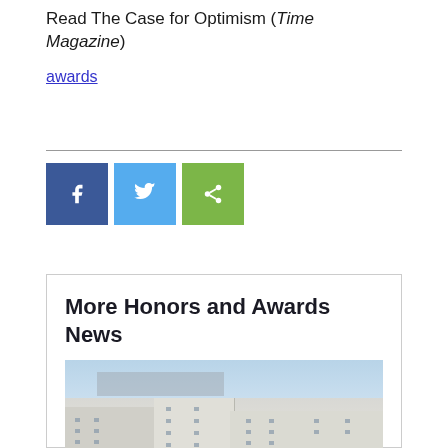Read The Case for Optimism (Time Magazine)
awards
[Figure (infographic): Social media sharing buttons: Facebook (blue), Twitter (light blue), Share (green)]
More Honors and Awards News
[Figure (photo): Aerial view of a large white university or hospital campus complex with multiple buildings, courtyard areas, and a city skyline visible in the background under a blue sky.]